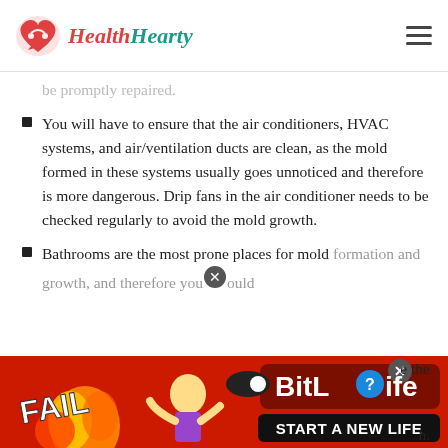HealthHearty
be promptly repaired.
You will have to ensure that the air conditioners, HVAC systems, and air/ventilation ducts are clean, as the mold formed in these systems usually goes unnoticed and therefore is more dangerous. Drip fans in the air conditioner needs to be checked regularly to avoid the mold growth.
Bathrooms are the most prone places for mold formation and growth, and therefore you should ...
[Figure (screenshot): BitLife advertisement banner with 'FAIL' text, animated character, flames, and 'START A NEW LIFE' call to action on red background with close button overlay]